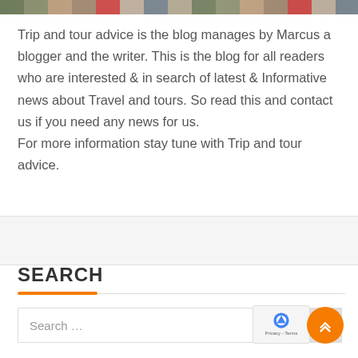[Figure (photo): Horizontal image strip at top showing travel/tour scene with vehicles and scenery]
Trip and tour advice is the blog manages by Marcus a blogger and the writer. This is the blog for all readers who are interested & in search of latest & Informative news about Travel and tours. So read this and contact us if you need any news for us.
For more information stay tune with Trip and tour advice.
SEARCH